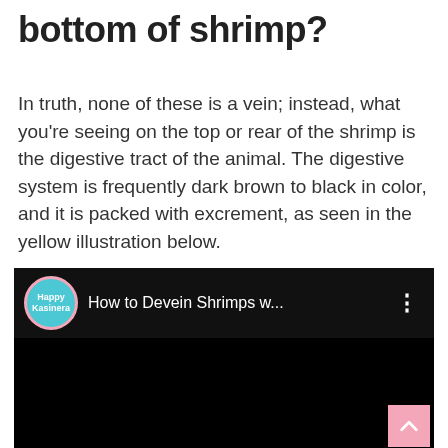bottom of shrimp?
In truth, none of these is a vein; instead, what you're seeing on the top or rear of the shrimp is the digestive tract of the animal. The digestive system is frequently dark brown to black in color, and it is packed with excrement, as seen in the yellow illustration below.
[Figure (screenshot): YouTube video player screenshot showing a video titled 'How to Devein Shrimps w...' from the channel 'Happy Kasinera' with a teal circular avatar with pink border. The video content area is black/empty. A pink scroll-to-top button is visible in the bottom-right corner.]